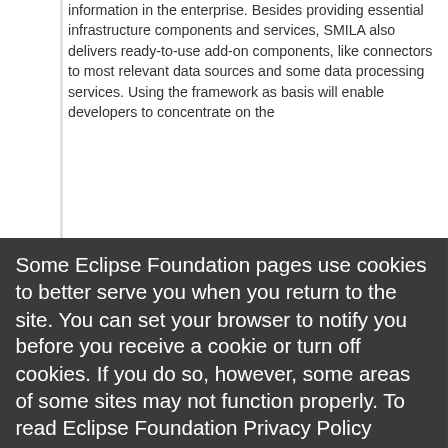information in the enterprise. Besides providing essential infrastructure components and services, SMILA also delivers ready-to-use add-on components, like connectors to most relevant data sources and some data processing services. Using the framework as basis will enable developers to concentrate on the
[Figure (screenshot): Cookie consent overlay with dark gray background. Text reads: 'Some Eclipse Foundation pages use cookies to better serve you when you return to the site. You can set your browser to notify you before you receive a cookie or turn off cookies. If you do so, however, some areas of some sites may not function properly. To read Eclipse Foundation Privacy Policy click here.' Two buttons: 'Decline' (white) and 'Allow cookies' (orange).]
designing and developing J2EE